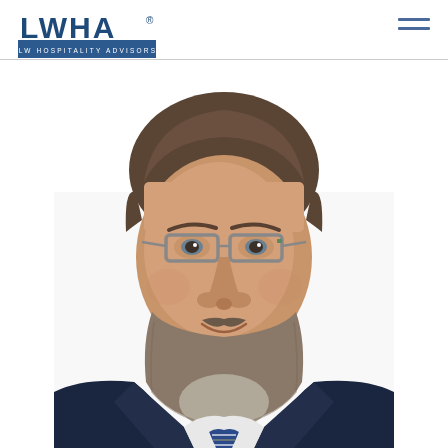[Figure (logo): LWHA LW Hospitality Advisors logo in blue]
[Figure (photo): Professional headshot of a middle-aged man with glasses, gray-brown beard, wearing a dark suit and striped tie, white background]